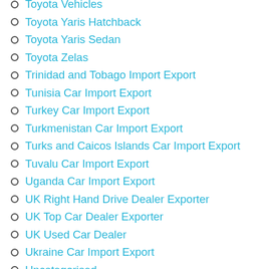Toyota Vehicles
Toyota Yaris Hatchback
Toyota Yaris Sedan
Toyota Zelas
Trinidad and Tobago Import Export
Tunisia Car Import Export
Turkey Car Import Export
Turkmenistan Car Import Export
Turks and Caicos Islands Car Import Export
Tuvalu Car Import Export
Uganda Car Import Export
UK Right Hand Drive Dealer Exporter
UK Top Car Dealer Exporter
UK Used Car Dealer
Ukraine Car Import Export
Uncategorised
United Arab Emirates UAE Car Import Export
United Kingdom Car Import Export
United States of America Car Import Export